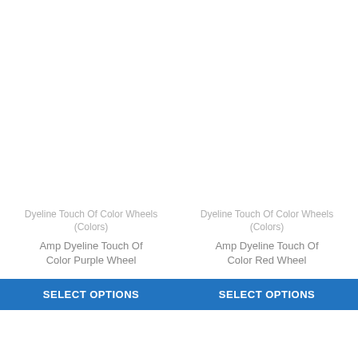Dyeline Touch Of Color Wheels (Colors)
Amp Dyeline Touch Of Color Purple Wheel
SELECT OPTIONS
Dyeline Touch Of Color Wheels (Colors)
Amp Dyeline Touch Of Color Red Wheel
SELECT OPTIONS